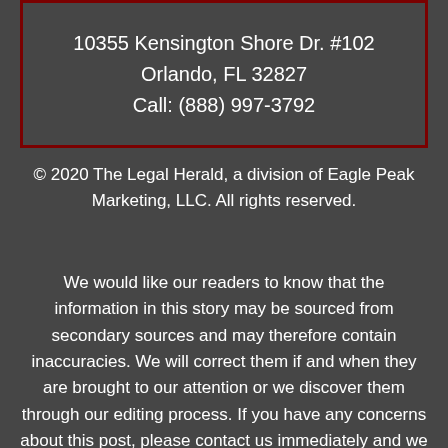10355 Kensington Shore Dr. #102
Orlando, FL 32827
Call: (888) 997-3792
© 2020 The Legal Herald, a division of Eagle Peak Marketing, LLC. All rights reserved.
We would like our readers to know that the information in this story may be sourced from secondary sources and may therefore contain inaccuracies. We will correct them if and when they are brought to our attention or we discover them through our editing process. If you have any concerns about this post, please contact us immediately and we will rectify issues. DISCLAIMER: The material contained in this post is for general informational